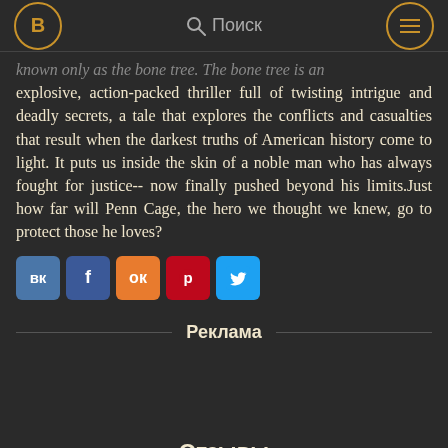B  Поиск  ☰
known only as the bone tree. The bone tree is an explosive, action-packed thriller full of twisting intrigue and deadly secrets, a tale that explores the conflicts and casualties that result when the darkest truths of American history come to light. It puts us inside the skin of a noble man who has always fought for justice-- now finally pushed beyond his limits.Just how far will Penn Cage, the hero we thought we knew, go to protect those he loves?
[Figure (other): Social sharing buttons: VK, Facebook, Odnoklassniki, Pinterest, Twitter]
Реклама
Отзывы